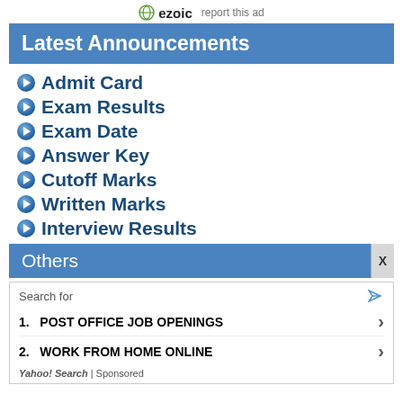ezoic  report this ad
Latest Announcements
Admit Card
Exam Results
Exam Date
Answer Key
Cutoff Marks
Written Marks
Interview Results
Others
Search for
1. POST OFFICE JOB OPENINGS
2. WORK FROM HOME ONLINE
Yahoo! Search | Sponsored